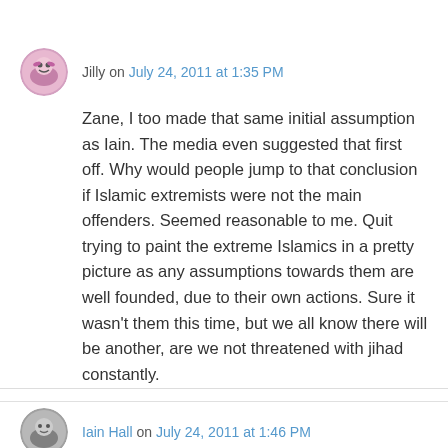Jilly on July 24, 2011 at 1:35 PM
Zane, I too made that same initial assumption as Iain. The media even suggested that first off. Why would people jump to that conclusion if Islamic extremists were not the main offenders. Seemed reasonable to me. Quit trying to paint the extreme Islamics in a pretty picture as any assumptions towards them are well founded, due to their own actions. Sure it wasn't them this time, but we all know there will be another, are we not threatened with jihad constantly.
Iain Hall on July 24, 2011 at 1:46 PM